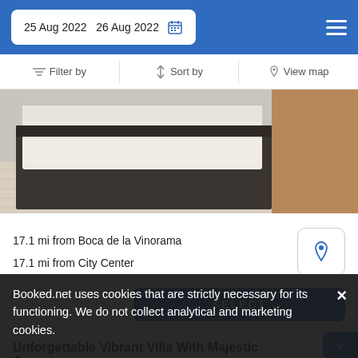25 Aug 2022   26 Aug 2022
Filter by   Sort by   View map
[Figure (photo): Hotel room photo showing a white bed with white linen on a dark bed frame, light wood flooring, and a brown wardrobe/door visible on the right side.]
17.1 mi from Boca de la Vinorama
17.1 mi from City Center
SELECT
Unforgettable Vibrant Villa With Majestic Ocean...
Booked.net uses cookies that are strictly necessary for its functioning. We do not collect analytical and marketing cookies.